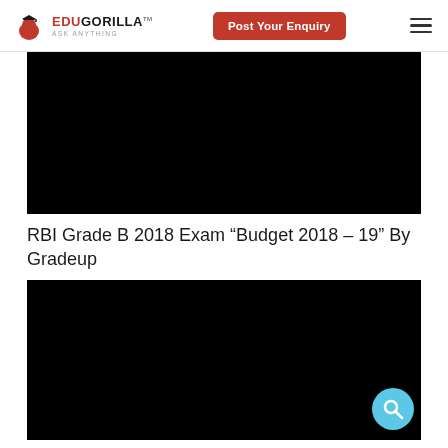EduGorilla — Post Your Enquiry
[Figure (screenshot): Black video thumbnail placeholder (first video)]
RBI Grade B 2018 Exam “Budget 2018 – 19” By Gradeup
[Figure (screenshot): Black video thumbnail placeholder (second video) with search FAB icon in bottom-right corner]